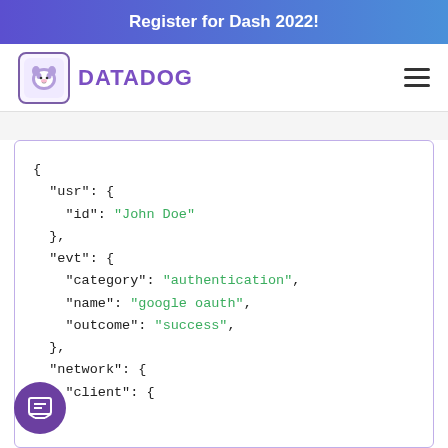Register for Dash 2022!
[Figure (logo): Datadog logo with dog icon and DATADOG wordmark in purple]
{ "usr": { "id": "John Doe" }, "evt": { "category": "authentication", "name": "google oauth", "outcome": "success", }, "network": { "client": {